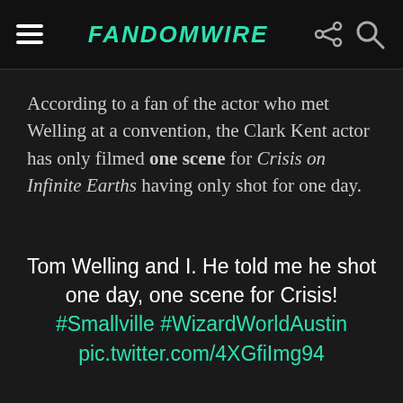FandomWire
According to a fan of the actor who met Welling at a convention, the Clark Kent actor has only filmed one scene for Crisis on Infinite Earths having only shot for one day.
Tom Welling and I. He told me he shot one day, one scene for Crisis! #Smallville #WizardWorldAustin pic.twitter.com/4XGfiImg94